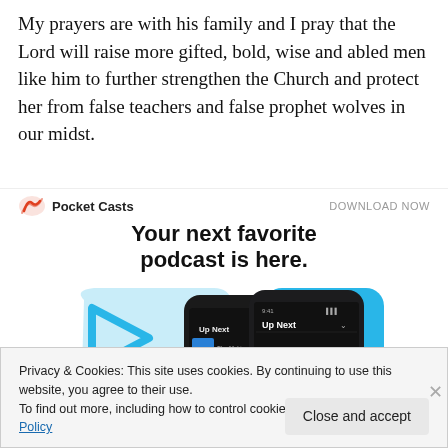My prayers are with his family and I pray that the Lord will raise more gifted, bold, wise and abled men like him to further strengthen the Church and protect her from false teachers and false prophet wolves in our midst.
[Figure (infographic): Pocket Casts advertisement banner with logo, 'DOWNLOAD NOW' link, tagline 'Your next favorite podcast is here.' and phone/app mockup images showing 'Up Next' podcast queue interface in blue/dark theme.]
Privacy & Cookies: This site uses cookies. By continuing to use this website, you agree to their use. To find out more, including how to control cookies, see here: Cookie Policy